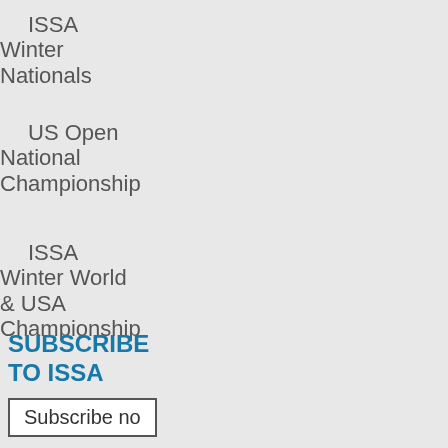ISSA Winter Nationals
US Open National Championship
ISSA Winter World & USA Championship
SUBSCRIBE TO ISSA
Subscribe now